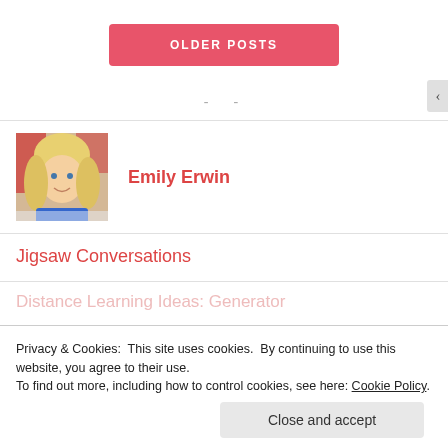OLDER POSTS
- -
[Figure (photo): Profile photo of Emily Erwin, a blonde woman smiling]
Emily Erwin
Jigsaw Conversations
Distance Learning Ideas: Generator
Privacy & Cookies:  This site uses cookies.  By continuing to use this website, you agree to their use.
To find out more, including how to control cookies, see here: Cookie Policy
Close and accept